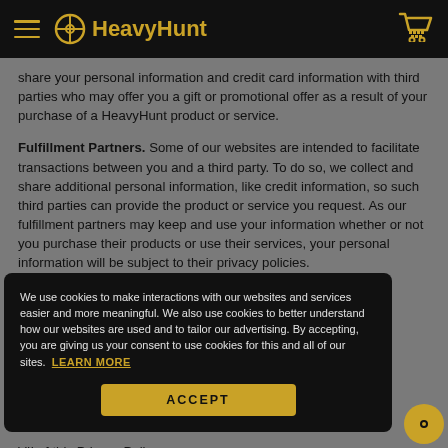HeavyHunt
share your personal information and credit card information with third parties who may offer you a gift or promotional offer as a result of your purchase of a HeavyHunt product or service.
Fulfillment Partners. Some of our websites are intended to facilitate transactions between you and a third party. To do so, we collect and share additional personal information, like credit information, so such third parties can provide the product or service you request. As our fulfillment partners may keep and use your information whether or not you purchase their products or use their services, your personal information will be subject to their privacy policies.
...nation ...her ...e not ...es. If ...tions, ...cedures ...yHunt ...Se...
VII of this Privacy Policy.
We use cookies to make interactions with our websites and services easier and more meaningful. We also use cookies to better understand how our websites are used and to tailor our advertising. By accepting, you are giving us your consent to use cookies for this and all of our sites. LEARN MORE
ACCEPT